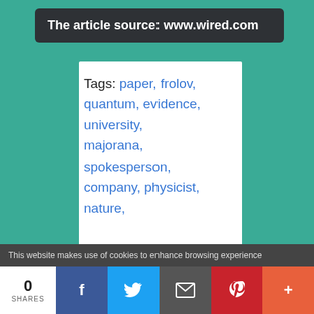The article source: www.wired.com
Tags: paper, frolov, quantum, evidence, university, majorana, spokesperson, company, physicist, nature,
This website makes use of cookies to enhance browsing experience
0 SHARES